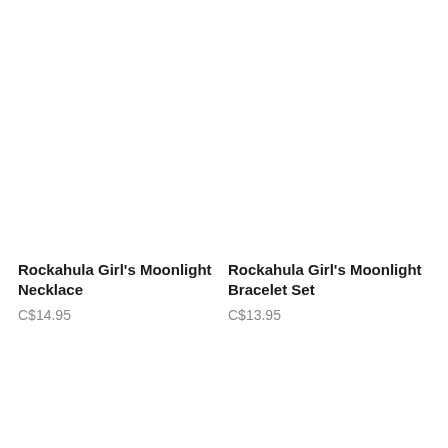Rockahula Girl's Moonlight Necklace
C$14.95
Rockahula Girl's Moonlight Bracelet Set
C$13.95